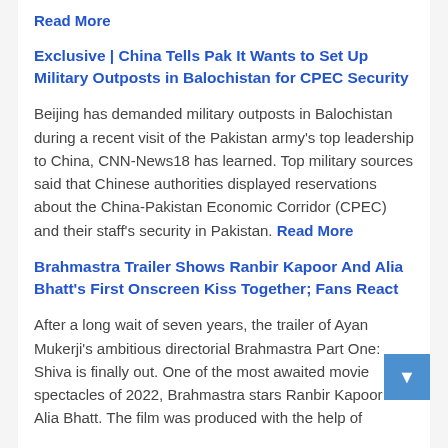Read More
Exclusive | China Tells Pak It Wants to Set Up Military Outposts in Balochistan for CPEC Security
Beijing has demanded military outposts in Balochistan during a recent visit of the Pakistan army's top leadership to China, CNN-News18 has learned. Top military sources said that Chinese authorities displayed reservations about the China-Pakistan Economic Corridor (CPEC) and their staff's security in Pakistan. Read More
Brahmastra Trailer Shows Ranbir Kapoor And Alia Bhatt's First Onscreen Kiss Together; Fans React
After a long wait of seven years, the trailer of Ayan Mukerji's ambitious directorial Brahmastra Part One: Shiva is finally out. One of the most awaited movie spectacles of 2022, Brahmastra stars Ranbir Kapoor and Alia Bhatt. The film was produced with the help of...